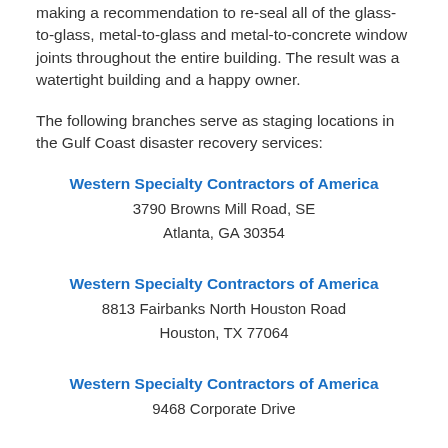making a recommendation to re-seal all of the glass-to-glass, metal-to-glass and metal-to-concrete window joints throughout the entire building. The result was a watertight building and a happy owner.
The following branches serve as staging locations in the Gulf Coast disaster recovery services:
Western Specialty Contractors of America
3790 Browns Mill Road, SE
Atlanta, GA 30354
Western Specialty Contractors of America
8813 Fairbanks North Houston Road
Houston, TX 77064
Western Specialty Contractors of America
9468 Corporate Drive